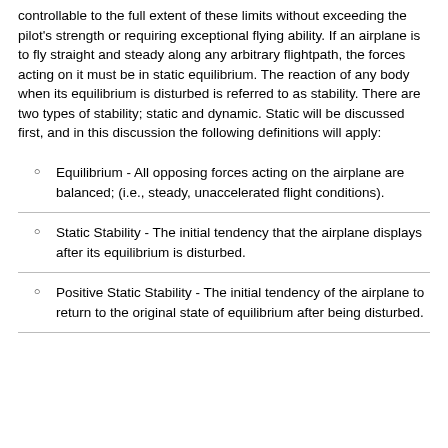controllable to the full extent of these limits without exceeding the pilot's strength or requiring exceptional flying ability. If an airplane is to fly straight and steady along any arbitrary flightpath, the forces acting on it must be in static equilibrium. The reaction of any body when its equilibrium is disturbed is referred to as stability. There are two types of stability; static and dynamic. Static will be discussed first, and in this discussion the following definitions will apply:
Equilibrium - All opposing forces acting on the airplane are balanced; (i.e., steady, unaccelerated flight conditions).
Static Stability - The initial tendency that the airplane displays after its equilibrium is disturbed.
Positive Static Stability - The initial tendency of the airplane to return to the original state of equilibrium after being disturbed.